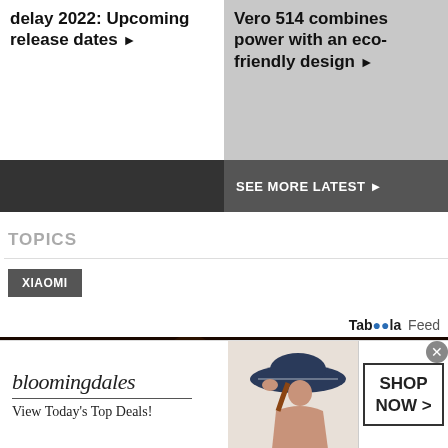delay 2022: Upcoming release dates ▶
Vero 514 combines power with an eco-friendly design ▶
SEE MORE LATEST ▶
TOPICS
XIAOMI
Taboola Feed
[Figure (photo): Taboola feed dark banner with partial figures]
[Figure (photo): Bloomingdale's advertisement with woman in hat: bloomingdales / View Today's Top Deals! / SHOP NOW >]